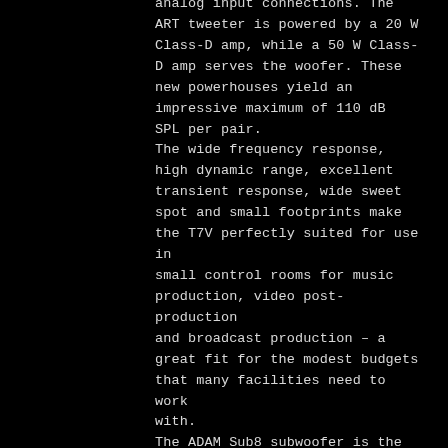analog input connections. The ART tweeter is powered by a 20 W Class-D amp, while a 50 W Class-D amp serves the woofer. These new powerhouses yield an impressive maximum of 110 dB SPL per pair. The wide frequency response, high dynamic range, excellent transient response, wide sweet spot and small footprints make the T7V perfectly suited for use in small control rooms for music production, video post-production and broadcast production – a great fit for the modest budgets that many facilities need to work with. The ADAM Sub8 subwoofer is the perfect complement to...